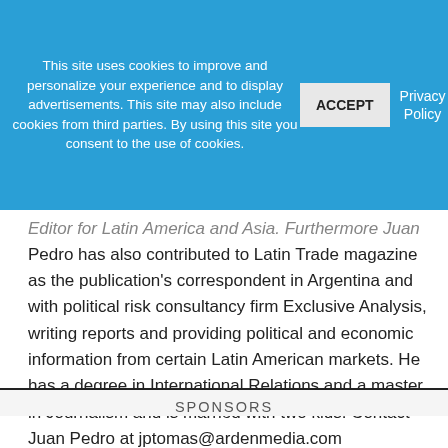This site uses cookies to improve and personalize your experience and to display advertisements. This site may also include cookies from third parties. By using this site you consent to the use of cookies.
ACCEPT
Privacy Policy
Editor for Latin America and Asia. Furthermore Juan Pedro has also contributed to Latin Trade magazine as the publication's correspondent in Argentina and with political risk consultancy firm Exclusive Analysis, writing reports and providing political and economic information from certain Latin American markets. He has a degree in International Relations and a master in Journalism and is married with two kids. Contact Juan Pedro at jptomas@ardenmedia.com
SPONSORS